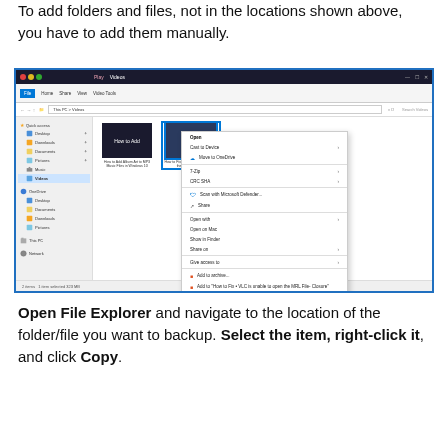To add folders and files, not in the locations shown above, you have to add them manually.
[Figure (screenshot): Windows File Explorer showing Videos folder with a right-click context menu open. The context menu shows options including Open, Cast to Device, Move to OneDrive, 7-Zip, CRC SHA, Scan with Microsoft Defender, Share, Open with, Open on Mac, Show in Finder, Share on, Give access to, Add to archive, Add to context menu items, Compress and email, Copy shortcut, Copy as path, Restore previous versions, Send to, Cut, Copy (highlighted), Create shortcut, Delete, Rename, Properties.]
Open File Explorer and navigate to the location of the folder/file you want to backup. Select the item, right-click it, and click Copy.